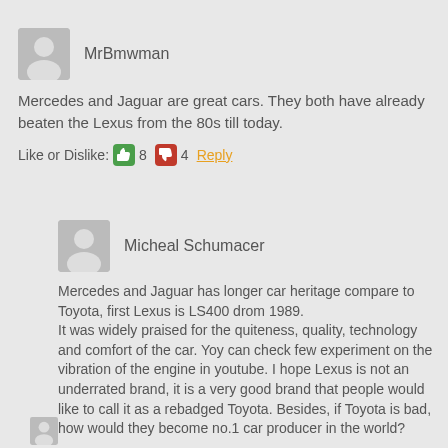MrBmwman
Mercedes and Jaguar are great cars. They both have already beaten the Lexus from the 80s till today.
Like or Dislike: 👍 8 👎 4 Reply
Micheal Schumacer
Mercedes and Jaguar has longer car heritage compare to Toyota, first Lexus is LS400 drom 1989.
It was widely praised for the quiteness, quality, technology and comfort of the car. Yoy can check few experiment on the vibration of the engine in youtube. I hope Lexus is not an underrated brand, it is a very good brand that people would like to call it as a rebadged Toyota. Besides, if Toyota is bad, how would they become no.1 car producer in the world?
Like or Dislike: 👍 1 👎 1